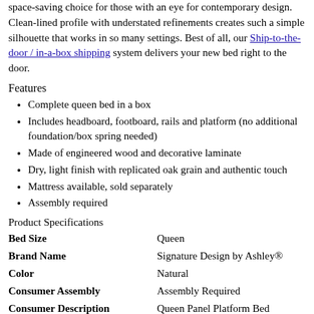space-saving choice for those with an eye for contemporary design. Clean-lined profile with understated refinements creates such a simple silhouette that works in so many settings. Best of all, our Ship-to-the-door / in-a-box shipping system delivers your new bed right to the door.
Features
Complete queen bed in a box
Includes headboard, footboard, rails and platform (no additional foundation/box spring needed)
Made of engineered wood and decorative laminate
Dry, light finish with replicated oak grain and authentic touch
Mattress available, sold separately
Assembly required
Product Specifications
|  |  |
| --- | --- |
| Bed Size | Queen |
| Brand Name | Signature Design by Ashley® |
| Color | Natural |
| Consumer Assembly | Assembly Required |
| Consumer Description | Queen Panel Platform Bed |
| Friendly Description | Queen Panel Platform Bed |
| Item Code | Bed |